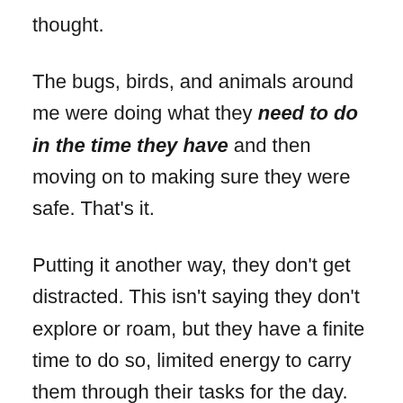thought.
The bugs, birds, and animals around me were doing what they need to do in the time they have and then moving on to making sure they were safe. That's it.
Putting it another way, they don't get distracted. This isn't saying they don't explore or roam, but they have a finite time to do so, limited energy to carry them through their tasks for the day.
The things in nature weren't rushing through their workday to cut out early and make it to the next thing or gulping down an extra cup of your favorite caffeinated